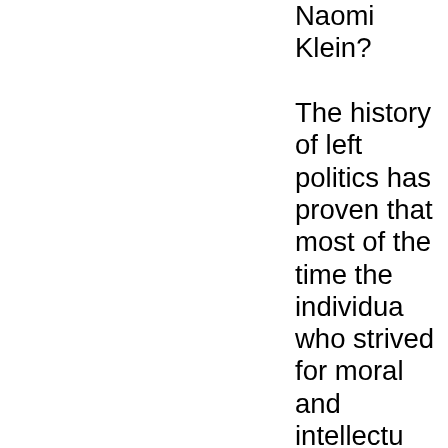Naomi Klein? The history of left politics has proven that most of the time the individuals who strived for moral and intellectual consistency even when it is at odds